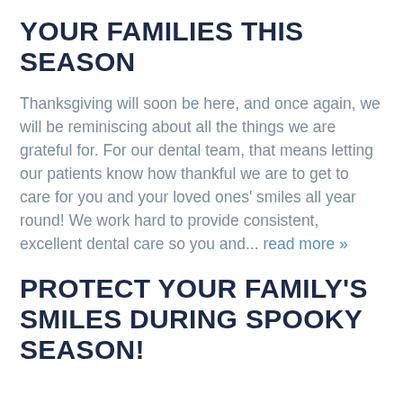YOUR FAMILIES THIS SEASON
Thanksgiving will soon be here, and once again, we will be reminiscing about all the things we are grateful for. For our dental team, that means letting our patients know how thankful we are to get to care for you and your loved ones' smiles all year round! We work hard to provide consistent, excellent dental care so you and... read more »
PROTECT YOUR FAMILY'S SMILES DURING SPOOKY SEASON!